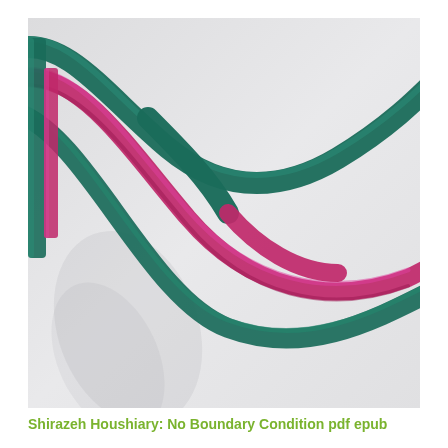[Figure (photo): Photograph of abstract sculpture showing two intertwined ribbon-like forms — one teal/dark green and one magenta/pink — curving and crossing over each other against a light gray-white background with subtle shadows.]
Shirazeh Houshiary: No Boundary Condition pdf epub